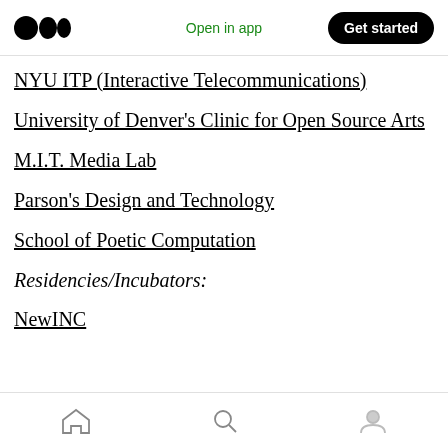Open in app | Get started
NYU ITP (Interactive Telecommunications)
University of Denver's Clinic for Open Source Arts
M.I.T. Media Lab
Parson's Design and Technology
School of Poetic Computation
Residencies/Incubators:
NewINC
Home | Search | Profile